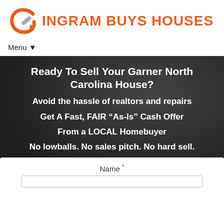[Figure (logo): Ingram Buys Houses logo with orange stylized 'e' magnet icon and orange bold text 'INGRAM BUYS HOUSES']
Menu ▼
Ready To Sell Your Garner North Carolina House?
Avoid the hassle of realtors and repairs
Get A Fast, FAIR "As-Is" Cash Offer
From a LOCAL Homebuyer
No lowballs. No sales pitch. No hard sell.
Name *